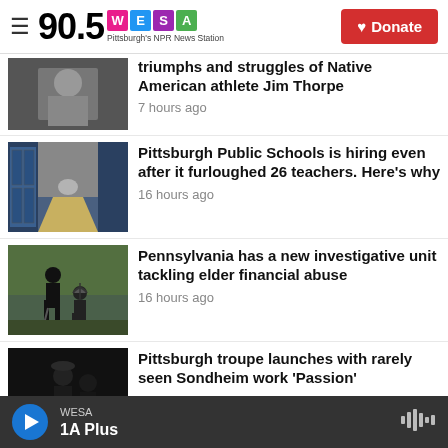90.5 WESA — Pittsburgh's NPR News Station | Donate
[Figure (photo): Partial black and white photo of a person, top of news article about Jim Thorpe]
triumphs and struggles of Native American athlete Jim Thorpe
7 hours ago
[Figure (photo): Photo of school hallway with lockers]
Pittsburgh Public Schools is hiring even after it furloughed 26 teachers. Here's why
16 hours ago
[Figure (photo): Photo of elderly person with silhouette figures in background]
Pennsylvania has a new investigative unit tackling elder financial abuse
16 hours ago
[Figure (photo): Dark theatrical photo for Pittsburgh troupe Sondheim article]
Pittsburgh troupe launches with rarely seen Sondheim work 'Passion'
WESA — 1A Plus (audio player bar)